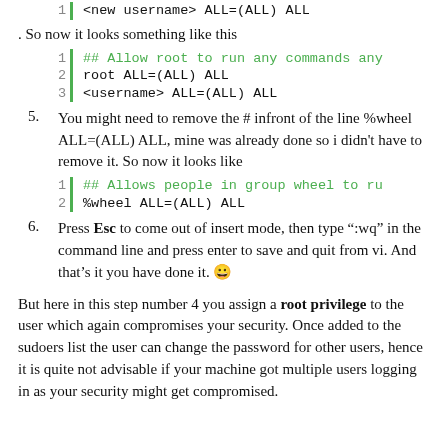<new username>  ALL=(ALL) ALL
. So now it looks something like this
## Allow root to run any commands any
root ALL=(ALL) ALL
<username> ALL=(ALL) ALL
5. You might need to remove the # infront of the line %wheel ALL=(ALL) ALL, mine was already done so i didn't have to remove it. So now it looks like
## Allows people in group wheel to ru
%wheel ALL=(ALL) ALL
6. Press Esc to come out of insert mode, then type ":wq" in the command line and press enter to save and quit from vi. And that's it you have done it. 😀
But here in this step number 4 you assign a root privilege to the user which again compromises your security. Once added to the sudoers list the user can change the password for other users, hence it is quite not advisable if your machine got multiple users logging in as your security might get compromised.